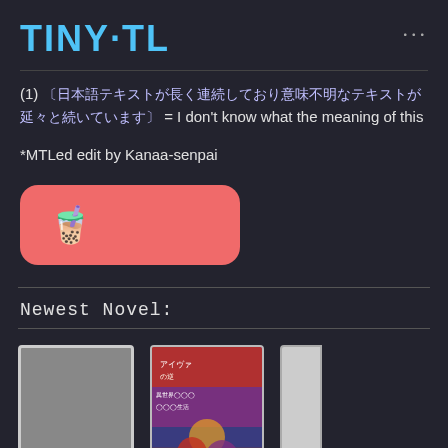TINY·TL
(1) 〔日本語テキスト〕 = I don't know what the meaning of this
*MTLed edit by Kanaa-senpai
[Figure (other): Red rounded rectangle button with coffee cup emoji icon]
Newest Novel:
[Figure (other): Row of novel cover cards: a gray blank card, an anime-style novel cover with Japanese text, and a partial white card. Overlaid with a teal Donate button and a purple theme toggle.]